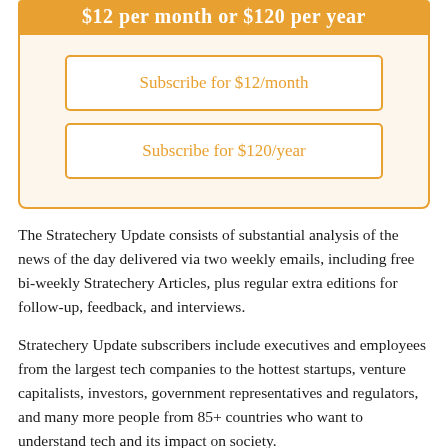$12 per month or $120 per year
Subscribe for $12/month
Subscribe for $120/year
The Stratechery Update consists of substantial analysis of the news of the day delivered via two weekly emails, including free bi-weekly Stratechery Articles, plus regular extra editions for follow-up, feedback, and interviews.
Stratechery Update subscribers include executives and employees from the largest tech companies to the hottest startups, venture capitalists, investors, government representatives and regulators, and many more people from 85+ countries who want to understand tech and its impact on society.